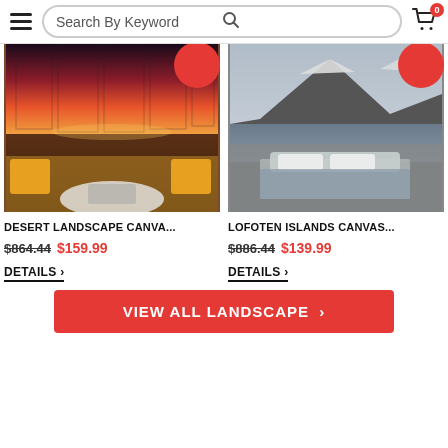Search By Keyword
[Figure (photo): Desert landscape canvas art print shown hanging in a living room with yellow chairs and a glass coffee table]
[Figure (photo): Lofoten Islands canvas art print shown in a grey bedroom with snowy mountain landscape]
DESERT LANDSCAPE CANVA...
LOFOTEN ISLANDS CANVAS...
$864.44  $159.99
$886.44  $139.99
DETAILS >
DETAILS >
VIEW ALL LANDSCAPE  >